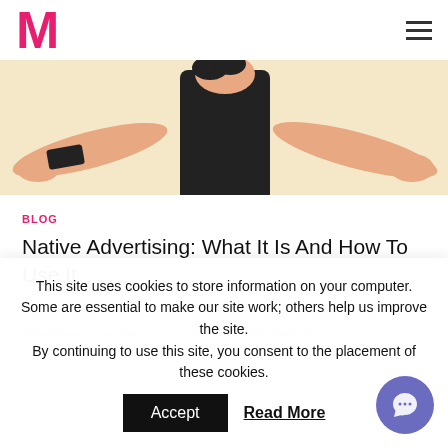M (logo) | hamburger menu
[Figure (illustration): Illustrated figure of a person in a black outfit with arms spread wide, on a cream/beige background]
BLOG
Native Advertising: What It Is And How To Use It
When it comes to designing a digital advertising plan, native advertising is a mechanism that has been gaining
This site uses cookies to store information on your computer. Some are essential to make our site work; others help us improve the site. By continuing to use this site, you consent to the place of these cookies.
Accept | Read More